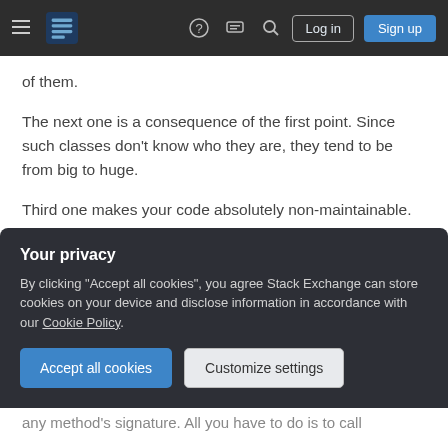Stack Exchange navigation bar with logo, help, chat, search, Log in, Sign up
of them.
The next one is a consequence of the first point. Since such classes don't know who they are, they tend to be from big to huge.
Third one makes your code absolutely non-maintainable. The use of static methods introduces hidden dependencies. They pop up all over the place, and you never know what's happening in your class. You can't be sure in that just by looking
Your privacy
By clicking "Accept all cookies", you agree Stack Exchange can store cookies on your device and disclose information in accordance with our Cookie Policy.
Accept all cookies   Customize settings
any method's signature. All you have to do is to call a static method wherever you need it, fully